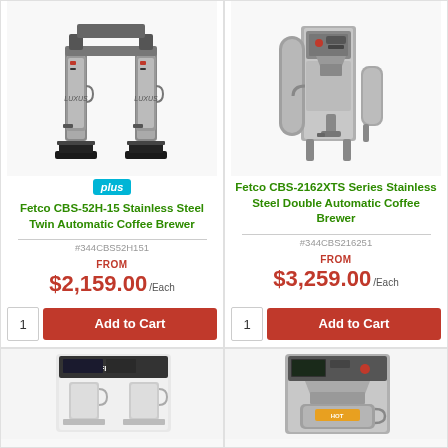[Figure (photo): Fetco CBS-52H-15 Stainless Steel Twin Automatic Coffee Brewer product photo]
Fetco CBS-52H-15 Stainless Steel Twin Automatic Coffee Brewer
#344CBS52H151
FROM
$2,159.00/Each
1  Add to Cart
[Figure (photo): Fetco CBS-2162XTS Series Stainless Steel Double Automatic Coffee Brewer product photo]
Fetco CBS-2162XTS Series Stainless Steel Double Automatic Coffee Brewer
#344CBS216251
FROM
$3,259.00/Each
1  Add to Cart
[Figure (photo): Coffee brewer product photo (bottom left, partially visible)]
[Figure (photo): Coffee brewer product photo (bottom right, partially visible)]